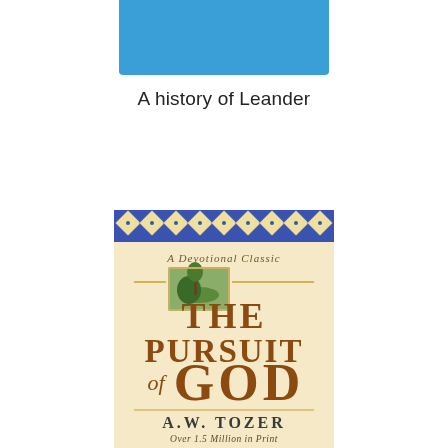[Figure (illustration): Blue rectangular bar at top center of page, resembling a book spine or header bar]
A history of Leander
[Figure (photo): Book cover of 'The Pursuit of God' by A.W. Tozer. Features a decorative blue and white diamond pattern border at top, cream/beige background, italic text 'A Devotional Classic', a small landscape painting inset, large golden/brown title text 'THE PURSUIT of GOD', author name 'A.W. TOZER', and tagline 'Over 1.5 Million in Print']